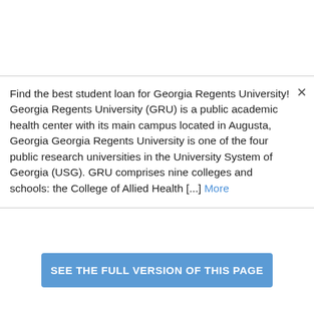Find the best student loan for Georgia Regents University!  Georgia Regents University (GRU) is a public academic health center with its main campus located in Augusta, Georgia Georgia Regents University is one of the four public research universities in the University System of Georgia (USG). GRU comprises nine colleges and schools: the College of Allied Health [...] More
SEE THE FULL VERSION OF THIS PAGE